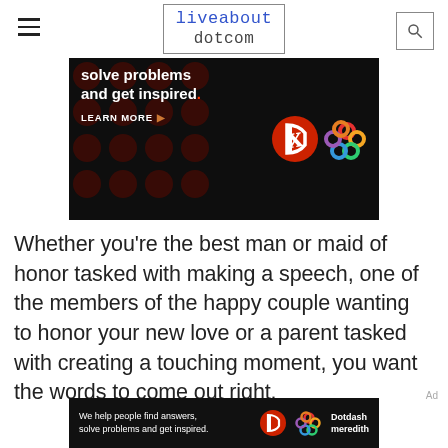liveabout dotcom
[Figure (photo): Advertisement banner with dark background showing dark red dot pattern, white bold text reading 'solve problems and get inspired.' with a red period, 'LEARN MORE' in white with arrow, a red circle D logo and a colorful woven knot logo (Dotdash Meredith)]
Whether you're the best man or maid of honor tasked with making a speech, one of the members of the happy couple wanting to honor your new love or a parent tasked with creating a touching moment, you want the words to come out right.
[Figure (photo): Bottom advertisement banner: dark background with white text 'We help people find answers, solve problems and get inspired.' with D logo and Dotdash Meredith branding]